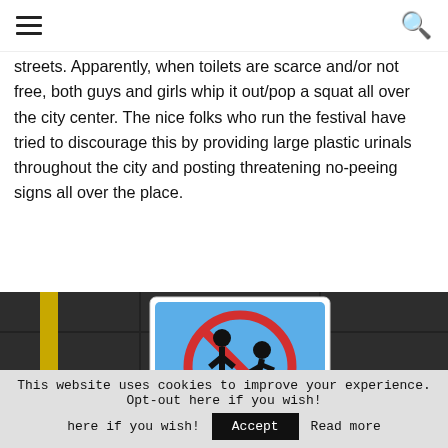☰  [search icon]
streets. Apparently, when toilets are scarce and/or not free, both guys and girls whip it out/pop a squat all over the city center. The nice folks who run the festival have tried to discourage this by providing large plastic urinals throughout the city and posting threatening no-peeing signs all over the place.
[Figure (photo): A no-peeing sign mounted on a dark metal wall. The sign has a blue background with a red circle-and-slash over black silhouette figures of a person urinating and a person squatting.]
This website uses cookies to improve your experience. Opt-out here if you wish! Accept Read more